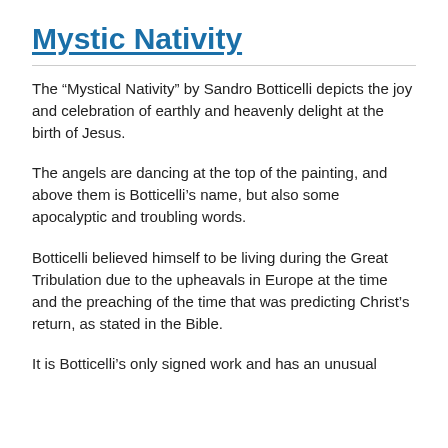Mystic Nativity
The “Mystical Nativity” by Sandro Botticelli depicts the joy and celebration of earthly and heavenly delight at the birth of Jesus.
The angels are dancing at the top of the painting, and above them is Botticelli’s name, but also some apocalyptic and troubling words.
Botticelli believed himself to be living during the Great Tribulation due to the upheavals in Europe at the time and the preaching of the time that was predicting Christ’s return, as stated in the Bible.
It is Botticelli’s only signed work and has an unusual